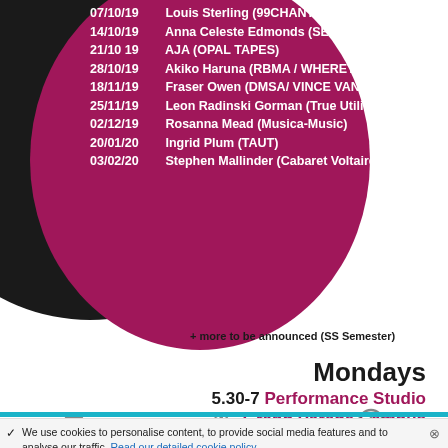07/10/19   Louis Sterling (99CHANTS/IDS)
14/10/19   Anna Celeste Edmonds (SEAHA/EPSRC)
21/10 19   AJA (OPAL TAPES)
28/10/19   Akiko Haruna (RBMA / WHERETONOW?)
18/11/19   Fraser Owen (DMSA/ VINCE VANITY)
25/11/19   Leon Radinski Gorman (True Utility)
02/12/19   Rosanna Mead (Musica-Music)
20/01/20   Ingrid Plum (TAUT)
03/02/20   Stephen Mallinder (Cabaret Voltaire)
+ more to be announced (SS Semester)
Mondays
5.30-7 Performance Studio
Grand Parade Campus
We use cookies to personalise content, to provide social media features and to analyse our traffic. Read our detailed cookie policy